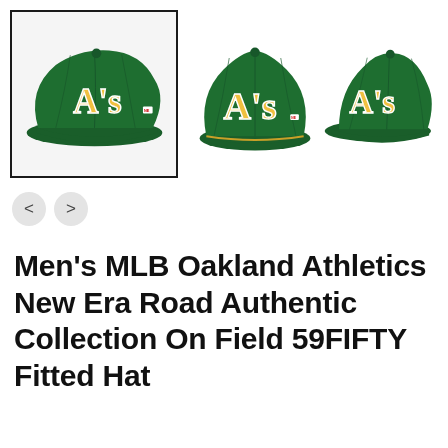[Figure (photo): Three views of an Oakland Athletics New Era 59FIFTY fitted hat in dark green with gold A's logo. Left image (selected/boxed): angled left-front view. Center: front-center view. Right: angled right-front view.]
Men's MLB Oakland Athletics New Era Road Authentic Collection On Field 59FIFTY Fitted Hat